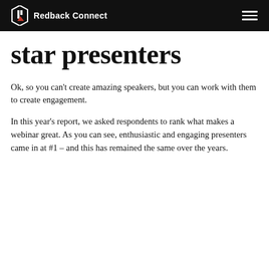Redback Connect
star presenters
Ok, so you can't create amazing speakers, but you can work with them to create engagement.
In this year's report, we asked respondents to rank what makes a webinar great. As you can see, enthusiastic and engaging presenters came in at #1 – and this has remained the same over the years.